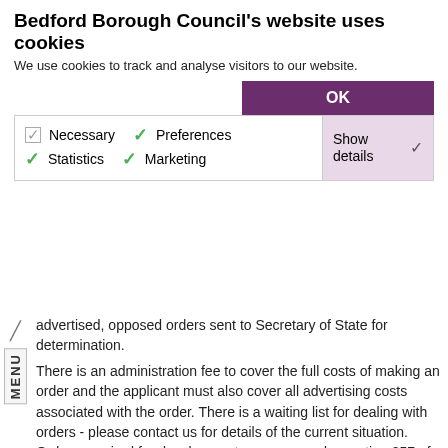Bedford Borough Council's website uses cookies
We use cookies to track and analyse visitors to our website.
OK
Necessary  Preferences  Statistics  Marketing  Show details
advertised, opposed orders sent to Secretary of State for determination.
There is an administration fee to cover the full costs of making an order and the applicant must also cover all advertising costs associated with the order. There is a waiting list for dealing with orders - please contact us for details of the current situation. Orders required for development purposes under section 257 of the Town and Country Planning Act 1990 may be processed more quickly.
Ordnance Survey is notified about any changes to the network but this can take a while to be reflected on their printed maps.